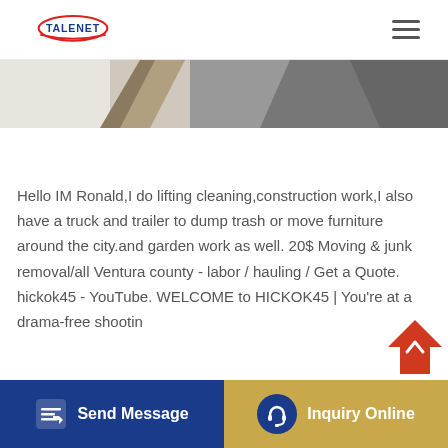TALENET
[Figure (screenshot): Partial image strip showing diagonal slices of product/vehicle images at the top of the page content area]
Hello IM Ronald,I do lifting cleaning,construction work,I also have a truck and trailer to dump trash or move furniture around the city.and garden work as well. 20$ Moving & junk removal/all Ventura county - labor / hauling / Get a Quote. hickok45 - YouTube. WELCOME to HICKOK45 | You're at a drama-free shootin
Send Message
Inquiry Online